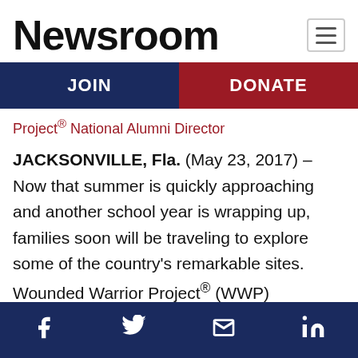Newsroom
JOIN | DONATE
Project® National Alumni Director
JACKSONVILLE, Fla. (May 23, 2017) – Now that summer is quickly approaching and another school year is wrapping up, families soon will be traveling to explore some of the country's remarkable sites. Wounded Warrior Project® (WWP) encourages veterans and families to visit some of our favorite military landmarks.
Social icons: Facebook, Twitter, Email, LinkedIn